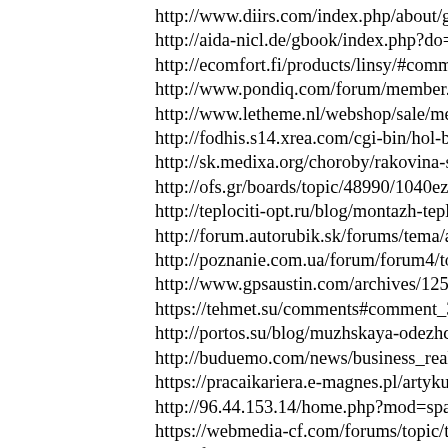http://www.diirs.com/index.php/about/guest-book
http://aida-nicl.de/gbook/index.php?do=add_form
http://ecomfort.fi/products/linsy/#comment_1242
http://www.pondiq.com/forum/member.php?actio
http://www.letheme.nl/webshop/sale/meisjes_jurk
http://fodhis.s14.xrea.com/cgi-bin/hol-bbs/yybbs.
http://sk.medixa.org/choroby/rakovina-stitnej-zla
http://ofs.gr/boards/topic/48990/1040ez-electroni
http://teplociti-opt.ru/blog/montazh-teplyh-polov
http://forum.autorubik.sk/forums/tema/analytics-i
http://poznanie.com.ua/forum/forum4/topic15174
http://www.gpsaustin.com/archives/1257
https://tehmet.su/comments#comment_35163/
http://portos.su/blog/muzhskaya-odezhda-bolshih
http://buduemo.com/news/business_realty_news/
https://pracaikariera.e-magnes.pl/artykuly/polska
http://96.44.153.14/home.php?mod=space&uid=5
https://webmedia-cf.com/forums/topic/travel-airf
http://foveon-bbs.com/messages/306/thread#986